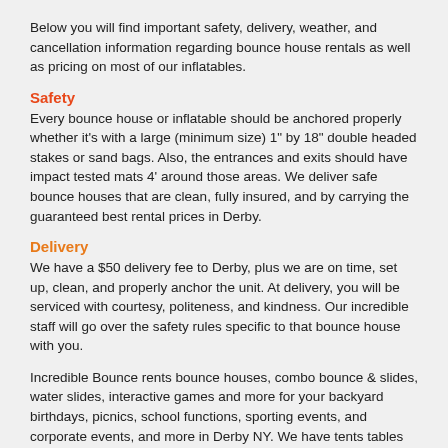Below you will find important safety, delivery, weather, and cancellation information regarding bounce house rentals as well as pricing on most of our inflatables.
Safety
Every bounce house or inflatable should be anchored properly whether it's with a large (minimum size) 1" by 18" double headed stakes or sand bags. Also, the entrances and exits should have impact tested mats 4' around those areas. We deliver safe bounce houses that are clean, fully insured, and by carrying the guaranteed best rental prices in Derby.
Delivery
We have a $50 delivery fee to Derby, plus we are on time, set up, clean, and properly anchor the unit. At delivery, you will be serviced with courtesy, politeness, and kindness. Our incredible staff will go over the safety rules specific to that bounce house with you.
Incredible Bounce rents bounce houses, combo bounce & slides, water slides, interactive games and more for your backyard birthdays, picnics, school functions, sporting events, and corporate events, and more in Derby NY. We have tents tables and chairs to package with your inflatable rental. Incredible Bounce is committed to providing the best customer service in Derby and more...